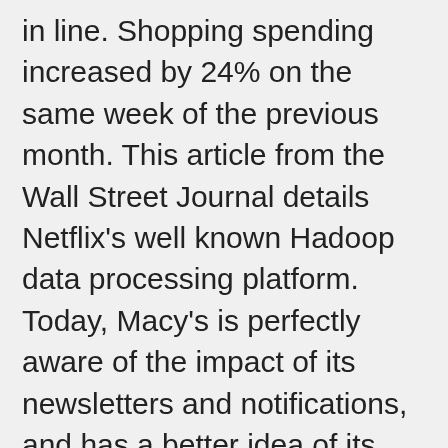in line. Shopping spending increased by 24% on the same week of the previous month. This article from the Wall Street Journal details Netflix's well known Hadoop data processing platform. Today, Macy's is perfectly aware of the impact of its newsletters and notifications, and has a better idea of its most satisfied customers, of what they like and what they don't… Today, the use of data enables it to segment its deliveries to the maximum possible extent and send fewer e-mails, but with much greater impact, and they have managed to reduce by up to 20% the number of customers unsubscribing. – These data sets consist of data from different sources and are analyzed and processed for gathering valuable information. Nowadays, you can find Big Data in every industry. Following are some